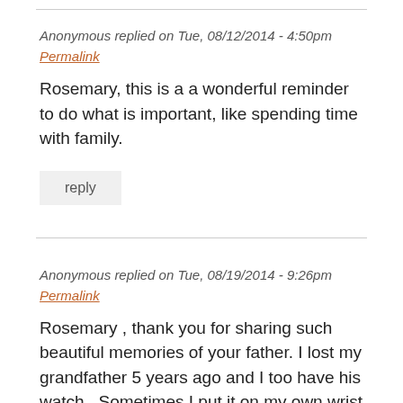Anonymous replied on Tue, 08/12/2014 - 4:50pm
Permalink
Rosemary, this is a a wonderful reminder to do what is important, like spending time with family.
reply
Anonymous replied on Tue, 08/19/2014 - 9:26pm
Permalink
Rosemary , thank you for sharing such beautiful memories of your father. I lost my grandfather 5 years ago and I too have his watch . Sometimes I put it on my own wrist just like you and feel close to him. M